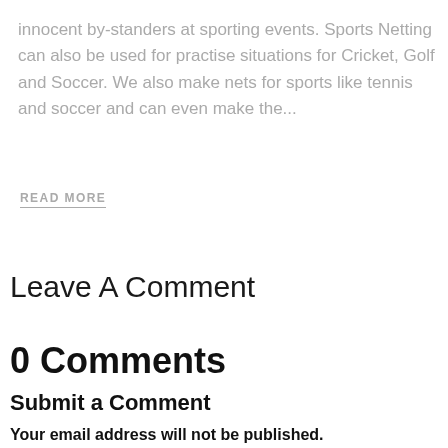innocent by-standers at sporting events. Sports Netting can also be used for practise situations for Cricket, Golf and Soccer. We also make nets for sports like tennis and soccer and can even make the...
READ MORE
Leave A Comment
0 Comments
Submit a Comment
Your email address will not be published.